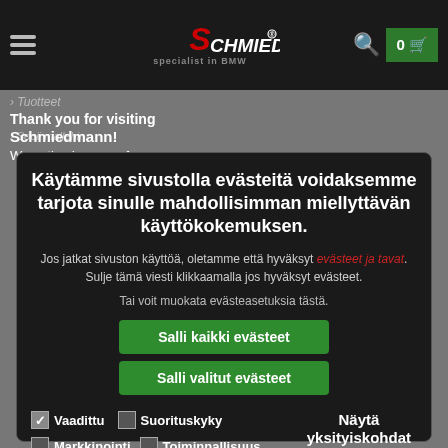Schmiedmann - Specialist in BMW
Thank you for visiting Schmiedmann! We noticed you are from...
Käytämme sivustolla evästeitä voidaksemme tarjota sinulle mahdollisimman miellyttävän käyttökokemuksen.
Jos jatkat sivuston käyttöä, oletamme että hyväksyt evästeet ja tavat. Sulje tämä viesti klikkaamalla jos hyväksyt evästeet.
Tai voit muokata evästeasetuksia tästä.
Salli kaikki evästeet
Salli valitut evästeet
Vaadittu  Suorituskyky  Markkinointi  Toiminnallisuus  Näytä yksityiskohdat